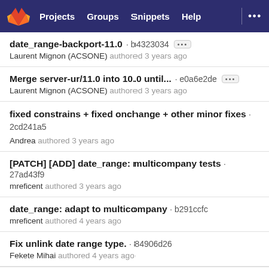GitLab navigation: Projects, Groups, Snippets, Help
date_range-backport-11.0 · b4323034
Laurent Mignon (ACSONE) authored 3 years ago
Merge server-ur/11.0 into 10.0 until... · e0a6e2de
Laurent Mignon (ACSONE) authored 3 years ago
fixed constrains + fixed onchange + other minor fixes · 2cd241a5
Andrea authored 3 years ago
[PATCH] [ADD] date_range: multicompany tests · 27ad43f9
mreficent authored 3 years ago
date_range: adapt to multicompany · b291ccfc
mreficent authored 4 years ago
Fix unlink date range type. · 84906d26
Fekete Mihai authored 4 years ago
17 Nov, 2018 1 commit